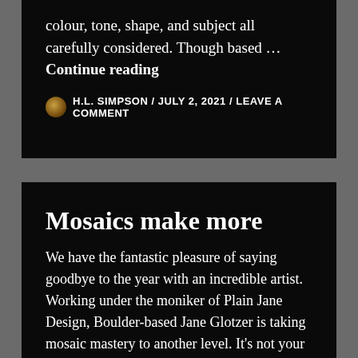colour, tone, shape, and subject all carefully considered. Though based … Continue reading
H.L. SIMPSON / JULY 2, 2021 / LEAVE A COMMENT
Mosaics make more
We have the fantastic pleasure of saying goodbye to the year with an incredible artist. Working under the moniker of Plain Jane Design, Boulder-based Jane Glotzer is taking mosaic mastery to another level. It's not your standard floor, path, or plant pot getting the mosaic treatment, instead it's a whole host of unsual, unloved items from rusty shovels to